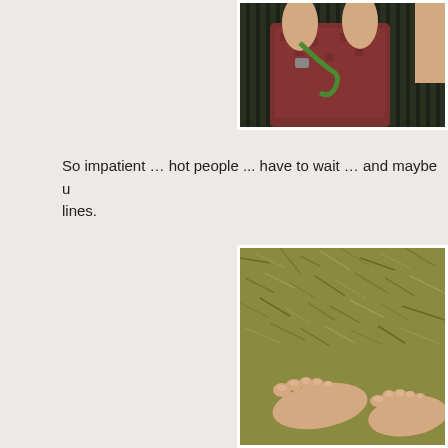[Figure (photo): A person holding a green garden hose, wearing a red/dark patterned shirt, standing in front of dark vertical panels. Another person's arm visible on the right.]
So impatient … hot people ... have to wait … and maybe u lines.
[Figure (photo): Bare feet standing on dry, brown-green grass lawn, viewed from above.]